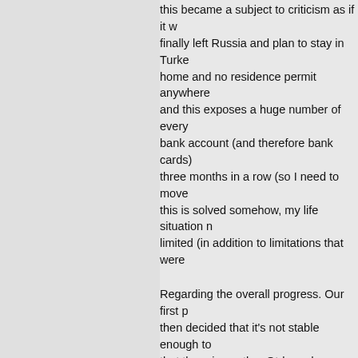this became a subject to criticism as if it w finally left Russia and plan to stay in Turke home and no residence permit anywhere and this exposes a huge number of every bank account (and therefore bank cards) three months in a row (so I need to move this is solved somehow, my life situation n limited (in addition to limitations that were
Regarding the overall progress. Our first p then decided that it's not stable enough to that there is another Qt-based browser ca using the very same engine (Chromium) b we decided to go with Dooble instead. Pre
I also want to mention that bww income h years (mostly because there is not enoug working full time for bww for many years b anymore because bww just didn't have en underpaid for a few months. So I started c course affected the progress of all our OS were talking about all this more than once
Regarding updates having «little to do wit actually surprised Paul is writing such thin understand how things work. Almost eve